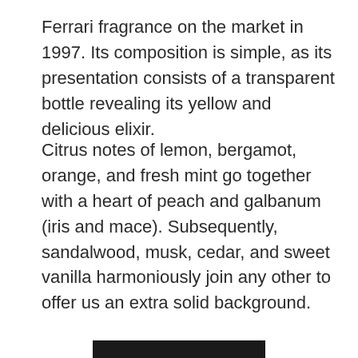Ferrari fragrance on the market in 1997. Its composition is simple, as its presentation consists of a transparent bottle revealing its yellow and delicious elixir.
Citrus notes of lemon, bergamot, orange, and fresh mint go together with a heart of peach and galbanum (iris and mace). Subsequently, sandalwood, musk, cedar, and sweet vanilla harmoniously join any other to offer us an extra solid background.